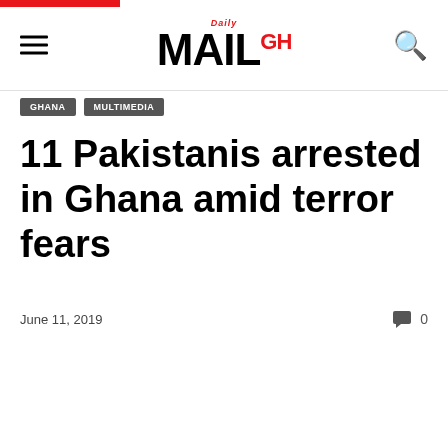Daily MAIL GH
GHANA | MULTIMEDIA
11 Pakistanis arrested in Ghana amid terror fears
June 11, 2019    0